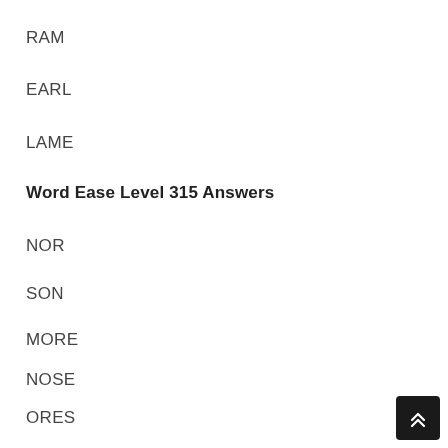RAM
EARL
LAME
Word Ease Level 315 Answers
NOR
SON
MORE
NOSE
ORES
ROSE